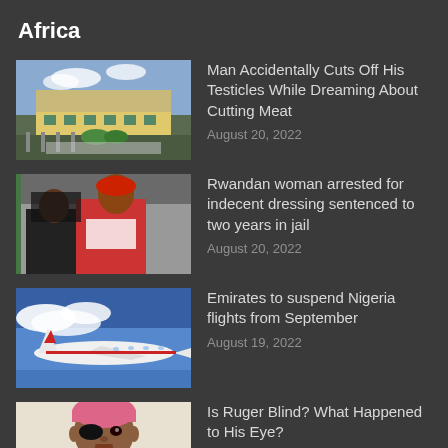Africa
Man Accidentally Cuts Off His Testicles While Dreaming About Cutting Meat
August 20, 2022
Rwandan woman arrested for indecent dressing sentenced to two years in jail
August 20, 2022
Emirates to suspend Nigeria flights from September
August 19, 2022
Is Ruger Blind? What Happened to His Eye?
August 16, 2022